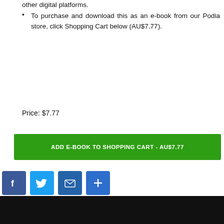other digital platforms.
To purchase and download this as an e-book from our Podia store, click Shopping Cart below (AU$7.77).
Price: $7.77
ADD E-BOOK TO SHOPPING CART - AU$7.77
[Figure (other): Social sharing icons: Facebook, Twitter, Email, Share/Plus]